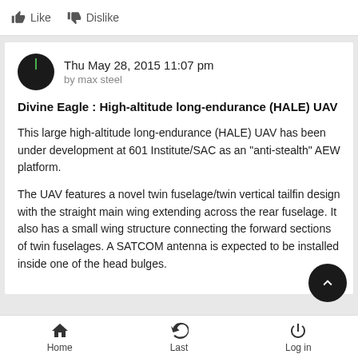Like  Dislike
Thu May 28, 2015 11:07 pm
by max steel
Divine Eagle : High-altitude long-endurance (HALE) UAV
This large high-altitude long-endurance (HALE) UAV has been under development at 601 Institute/SAC as an "anti-stealth" AEW platform.
The UAV features a novel twin fuselage/twin vertical tailfin design with the straight main wing extending across the rear fuselage. It also has a small wing structure connecting the forward sections of twin fuselages. A SATCOM antenna is expected to be installed inside one of the head bulges.
Home  Last  Log in